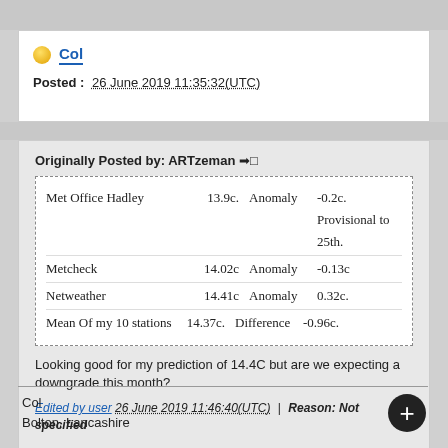Col
Posted : 26 June 2019 11:35:32(UTC)
Originally Posted by: ARTzeman
| Met Office Hadley | 13.9c. | Anomaly | -0.2c. Provisional to 25th. |
| Metcheck | 14.02c | Anomaly | -0.13c |
| Netweather | 14.41c | Anomaly | 0.32c. |
| Mean Of my 10 stations | 14.37c. | Difference | -0.96c. |
Looking good for my prediction of 14.4C but are we expecting a downgrade this month?
Edited by user 26 June 2019 11:46:40(UTC) | Reason: Not specified
Col
Bolton, Lancashire

160m asl

Snow videos:

http://www.youtube.com/c...UC…